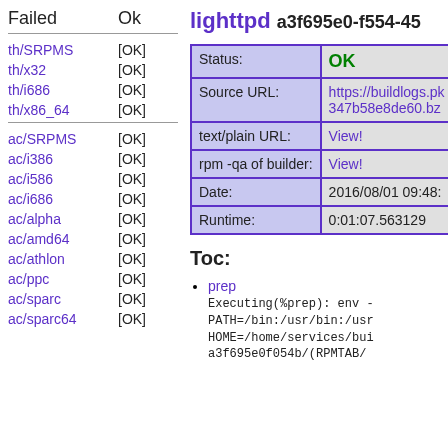| Failed | Ok |
| --- | --- |
| th/SRPMS | [OK] |
| th/x32 | [OK] |
| th/i686 | [OK] |
| th/x86_64 | [OK] |
| ac/SRPMS | [OK] |
| ac/i386 | [OK] |
| ac/i586 | [OK] |
| ac/i686 | [OK] |
| ac/alpha | [OK] |
| ac/amd64 | [OK] |
| ac/athlon | [OK] |
| ac/ppc | [OK] |
| ac/sparc | [OK] |
| ac/sparc64 | [OK] |
lighthttpd a3f695e0-f554-45...
|  |  |
| --- | --- |
| Status: | OK |
| Source URL: | https://buildlogs.pl...347b58e8de60.bz... |
| text/plain URL: | View! |
| rpm -qa of builder: | View! |
| Date: | 2016/08/01 09:48:... |
| Runtime: | 0:01:07.563129 |
Toc:
prep
Executing(%prep): env -
PATH=/bin:/usr/bin:/usr...
HOME=/home/services/bui...
a3f695e0f554b/(RPMTAB/...